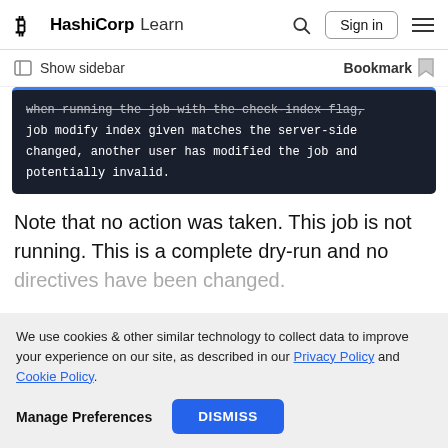HashiCorp Learn — Search, Sign in, Menu
Show sidebar    Bookmark
when running the job with the check-index flag, job modify index given matches the server-side changed, another user has modified the job and potentially invalid.
Note that no action was taken. This job is not running. This is a complete dry-run and no
We use cookies & other similar technology to collect data to improve your experience on our site, as described in our Privacy Policy and Cookie Policy.
Manage Preferences   DISMISS